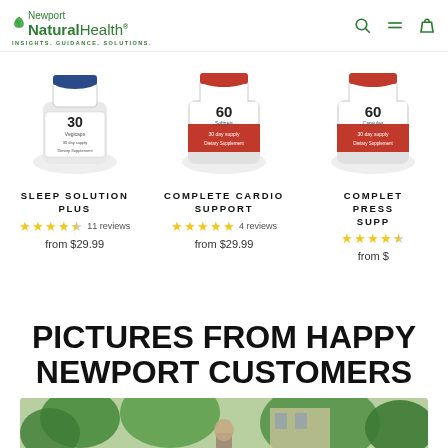[Figure (logo): Newport Natural Health logo with green leaf icon and tagline INSIGHTS. GUIDANCE. SOLUTIONS.]
[Figure (photo): Product image: SLEEP SOLUTION PLUS supplement bottle, 30 vegicaps]
SLEEP SOLUTION PLUS
★★★★☆ 11 reviews
from $29.99
[Figure (photo): Product image: COMPLETE CARDIO SUPPORT supplement bottle, 60 softgels]
COMPLETE CARDIO SUPPORT
★★★★★ 4 reviews
from $29.99
[Figure (photo): Product image: COMPLETE PRESSURE SUPPORT supplement bottle, 60 capsules (partially cropped)]
COMPLETE PRESS... SUPP...
★★★★☆
from $...
PICTURES FROM HAPPY NEWPORT CUSTOMERS
[Figure (photo): Outdoor photo of a person standing among green trees near a building, partially visible at bottom of page]